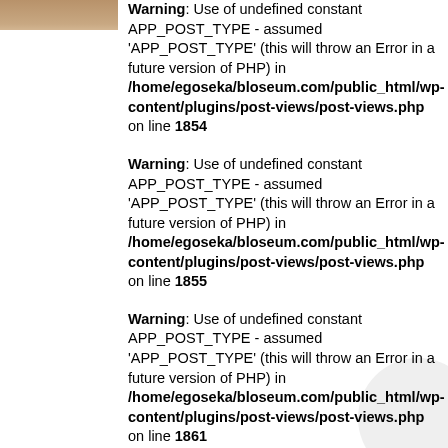[Figure (photo): Partial photo of a person visible in the top-left corner]
Warning: Use of undefined constant APP_POST_TYPE - assumed 'APP_POST_TYPE' (this will throw an Error in a future version of PHP) in /home/egoseka/bloseum.com/public_html/wp-content/plugins/post-views/post-views.php on line 1854
Warning: Use of undefined constant APP_POST_TYPE - assumed 'APP_POST_TYPE' (this will throw an Error in a future version of PHP) in /home/egoseka/bloseum.com/public_html/wp-content/plugins/post-views/post-views.php on line 1855
Warning: Use of undefined constant APP_POST_TYPE - assumed 'APP_POST_TYPE' (this will throw an Error in a future version of PHP) in /home/egoseka/bloseum.com/public_html/wp-content/plugins/post-views/post-views.php on line 1861
Warning: Use of undefined constant APP_POST_TYPE - assumed